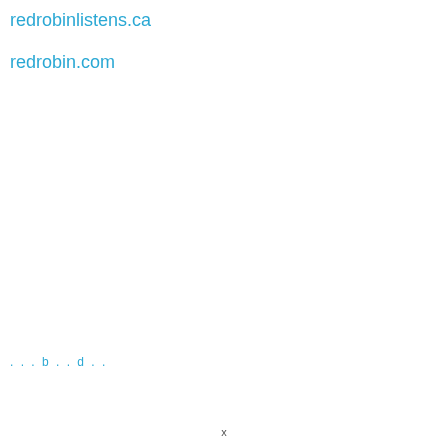redrobinlistens.ca
redrobin.com
...b..d..
x